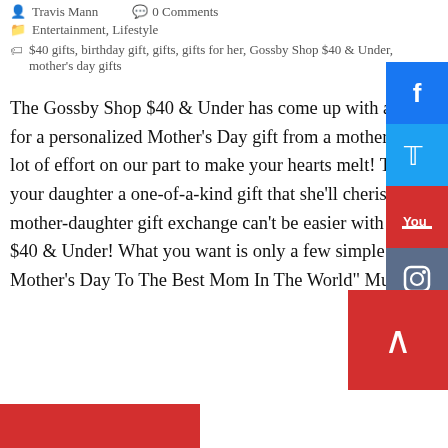Travis Mann  0 Comments
Entertainment, Lifestyle
$40 gifts, birthday gift, gifts, gifts for her, Gossby Shop $40 & Under, mother's day gifts
The Gossby Shop $40 & Under has come up with a list of the top 10 options for a personalized Mother's Day gift from a mother to her daughter. It took a lot of effort on our part to make your hearts melt! This Mother's Day, give your daughter a one-of-a-kind gift that she'll cherish for years to come. A mother-daughter gift exchange can't be easier with the help of Gossby Shop $40 & Under! What you want is only a few simple tweaks away! 1. "Happy Mother's Day To The Best Mom In The World" Mug. It's safe